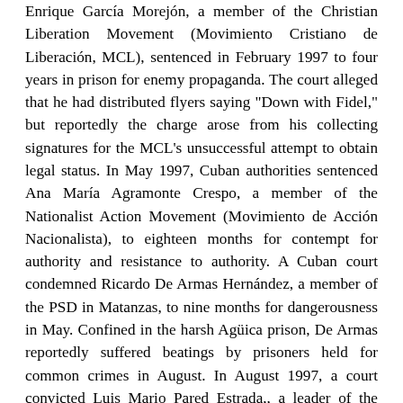Enrique García Morejón, a member of the Christian Liberation Movement (Movimiento Cristiano de Liberación, MCL), sentenced in February 1997 to four years in prison for enemy propaganda. The court alleged that he had distributed flyers saying "Down with Fidel," but reportedly the charge arose from his collecting signatures for the MCL's unsuccessful attempt to obtain legal status. In May 1997, Cuban authorities sentenced Ana María Agramonte Crespo, a member of the Nationalist Action Movement (Movimiento de Acción Nacionalista), to eighteen months for contempt for authority and resistance to authority. A Cuban court condemned Ricardo De Armas Hernández, a member of the PSD in Matanzas, to nine months for dangerousness in May. Confined in the harsh Agüica prison, De Armas reportedly suffered beatings by prisoners held for common crimes in August. In August 1997, a court convicted Luis Mario Pared Estrada,, a leader of the Thirtieth of November Party "Frank Pais" (Partido 30 de Noviembre "Frank Pais"), of dangerousness and sentenced him to one